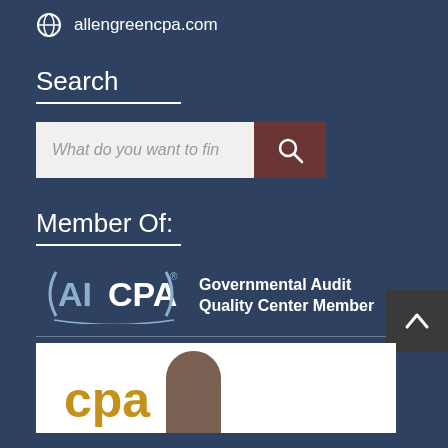allengreencpa.com
Search
[Figure (screenshot): Search input box with placeholder text 'What do you want to find' and a dark red search button with magnifying glass icon]
Member Of:
[Figure (logo): AICPA Governmental Audit Quality Center Member logo badge]
[Figure (photo): Partial image showing 'cpa' text in gold/yellow color with a figure below, partially cropped at page bottom]